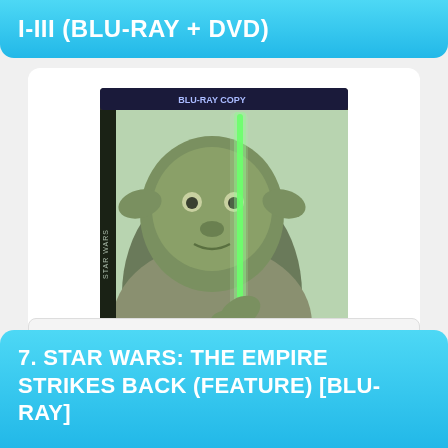I-III (BLU-RAY + DVD)
[Figure (photo): Star Wars Blu-ray + DVD product box featuring Yoda holding a green lightsaber]
View On Amazon
Features:
This refurbished product is tested and certified to work
7. STAR WARS: THE EMPIRE STRIKES BACK (FEATURE) [BLU-RAY]